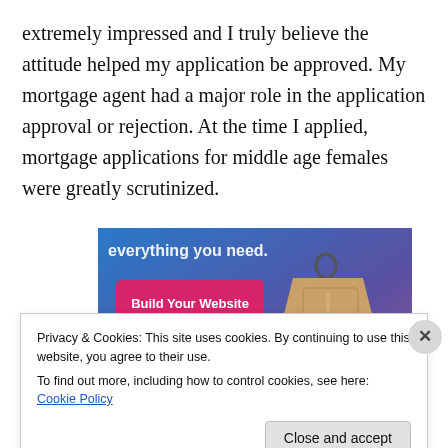extremely impressed and I truly believe the attitude helped my application be approved. My mortgage agent had a major role in the application approval or rejection. At the time I applied, mortgage applications for middle age females were greatly scrutinized.
[Figure (screenshot): Website advertisement banner with gradient blue-purple background showing partial text 'everything you need.' and a pink 'Build Your Website' button, with a tan luggage tag illustration on the right side.]
Privacy & Cookies: This site uses cookies. By continuing to use this website, you agree to their use.
To find out more, including how to control cookies, see here: Cookie Policy
Close and accept